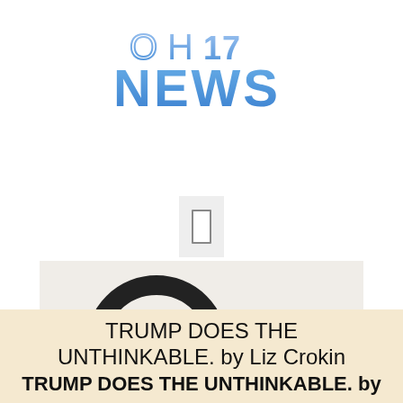[Figure (logo): OH17 NEWS logo with blue gradient letters, OH17 on top and NEWS below in bold blue]
[Figure (illustration): Small grey rectangle icon resembling a mobile device or button placeholder]
[Figure (illustration): Search bar illustration with magnifying glass icon overlapping a search input box that reads 'search...' with a search button, on a light beige background]
TRUMP DOES THE UNTHINKABLE. by Liz Crokin
TRUMP DOES THE UNTHINKABLE. by